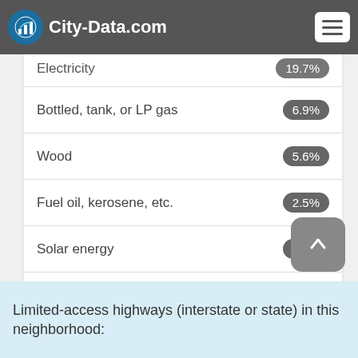[Figure (logo): City-Data.com logo with bar chart icon]
| Fuel Type | Percentage |
| --- | --- |
| Utility gas | 59.7% |
| Electricity | 19.7% |
| Bottled, tank, or LP gas | 6.9% |
| Wood | 5.6% |
| Fuel oil, kerosene, etc. | 2.5% |
| Solar energy | 2.3% |
| Other fuel | 1.7% |
| No fuel used | 1.5% |
Limited-access highways (interstate or state) in this neighborhood: